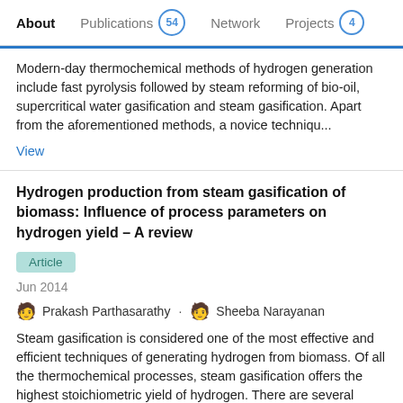About  Publications 54  Network  Projects 4
Modern-day thermochemical methods of hydrogen generation include fast pyrolysis followed by steam reforming of bio-oil, supercritical water gasification and steam gasification. Apart from the aforementioned methods, a novice techniqu...
View
Hydrogen production from steam gasification of biomass: Influence of process parameters on hydrogen yield – A review
Article
Jun 2014
Prakash Parthasarathy · Sheeba Narayanan
Steam gasification is considered one of the most effective and efficient techniques of generating hydrogen from biomass. Of all the thermochemical processes, steam gasification offers the highest stoichiometric yield of hydrogen. There are several factors which influence the yield of hydrogen in steam gasification. Some of the prominent factors are...